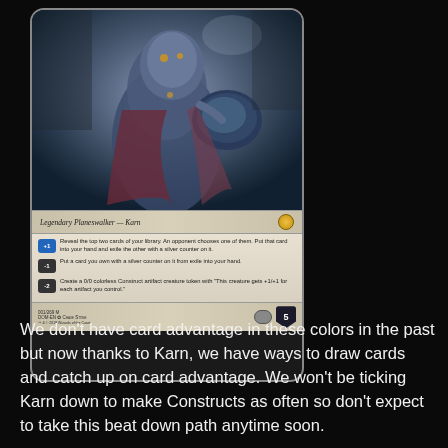[Figure (illustration): Magic: The Gathering card — Karn, Scion of Urza. Legendary Planeswalker — Karn. Shows a large metallic golem figure. Card abilities: +1 Reveal top two cards, opponent picks, put one in hand, exile other with silver counter. -1 Put a card you own with a silver counter on it from exile into your hand. -2 Create a 0/0 colorless Construct artifact creature token. Loyalty 5. Card number 001/269 M, DOM·EN, art by Chase Stone.]
We don't have card advantage in these colors in the past but now thanks to Karn, we have ways to draw cards and catch up on card advantage. We won't be ticking Karn down to make Constructs as often so don't expect to take this beat down path anytime soon.